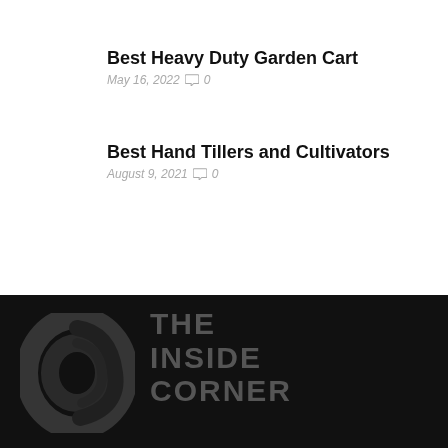Best Heavy Duty Garden Cart
May 16, 2022  0
Best Hand Tillers and Cultivators
August 9, 2021  0
[Figure (logo): The Inside Corner website logo: stylized swirl icon on left, bold stacked text THE INSIDE CORNER on right, dark background]